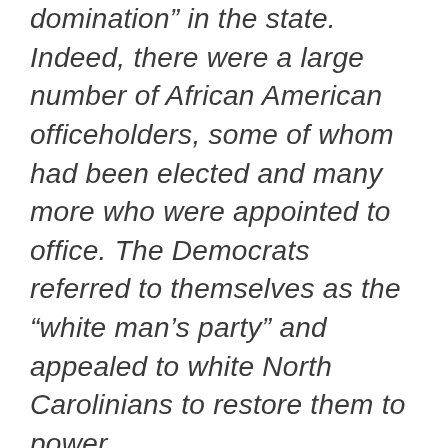domination” in the state. Indeed, there were a large number of African American officeholders, some of whom had been elected and many more who were appointed to office. The Democrats referred to themselves as the “white man’s party” and appealed to white North Carolinians to restore them to power.
One of the most significant events of the campaign was the appearance of an editorial in the Wilmington Daily Record on August 18, 1898. The Daily Record